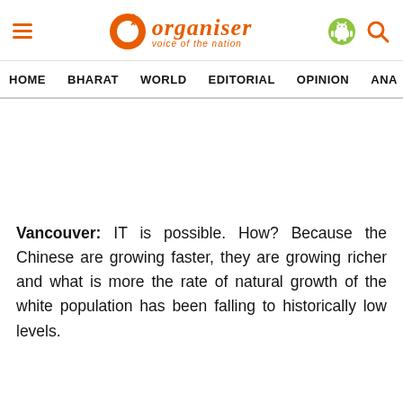Organiser — voice of the nation
HOME  BHARAT  WORLD  EDITORIAL  OPINION  ANA
Vancouver: IT is possible. How? Because the Chinese are growing faster, they are growing richer and what is more the rate of natural growth of the white population has been falling to historically low levels.